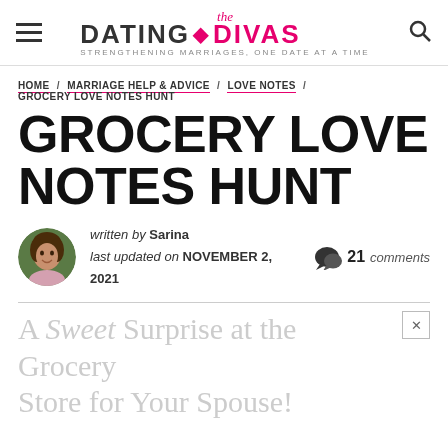the Dating Divas — STRENGTHENING MARRIAGES, ONE DATE AT A TIME
HOME / MARRIAGE HELP & ADVICE / LOVE NOTES / GROCERY LOVE NOTES HUNT
GROCERY LOVE NOTES HUNT
written by Sarina — last updated on NOVEMBER 2, 2021 — 21 comments
A Sweet Surprise at the Grocery Store for Your Spouse!